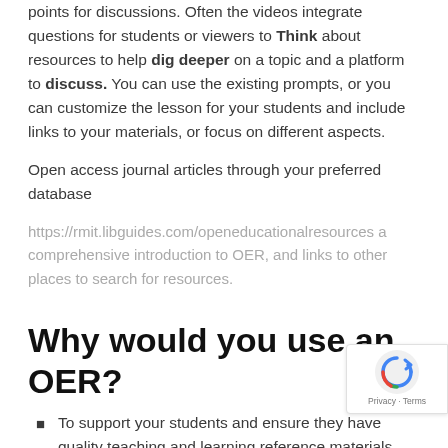points for discussions. Often the videos integrate questions for students or viewers to Think about resources to help dig deeper on a topic and a platform to discuss. You can use the existing prompts, or you can customize the lesson for your students and include links to your materials, or focus on different aspects.
Open access journal articles through your preferred database
https://rmit.libguides.com/openeducationalresources a comprehensive introduction to OER, and links to other places to search for resources.
Why would you use an OER?
To support your students and ensure they have quality teaching and learning reference materials